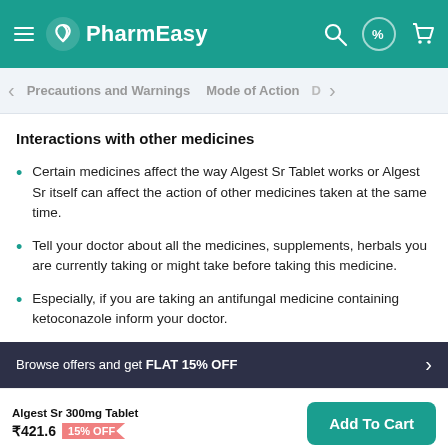PharmEasy
Precautions and Warnings | Mode of Action | D
Interactions with other medicines
Certain medicines affect the way Algest Sr Tablet works or Algest Sr itself can affect the action of other medicines taken at the same time.
Tell your doctor about all the medicines, supplements, herbals you are currently taking or might take before taking this medicine.
Especially, if you are taking an antifungal medicine containing ketoconazole inform your doctor.
Browse offers and get FLAT 15% OFF
Algest Sr 300mg Tablet ₹421.6 15% OFF
Add To Cart